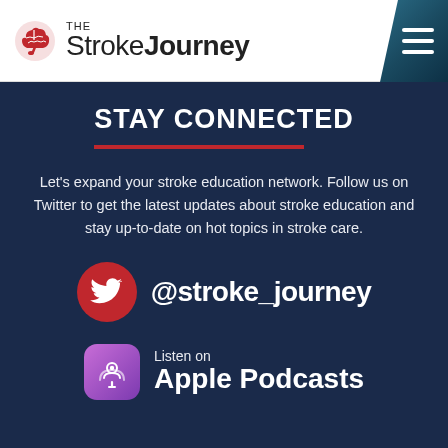The Stroke Journey
STAY CONNECTED
Let's expand your stroke education network. Follow us on Twitter to get the latest updates about stroke education and stay up-to-date on hot topics in stroke care.
@stroke_journey
Listen on Apple Podcasts